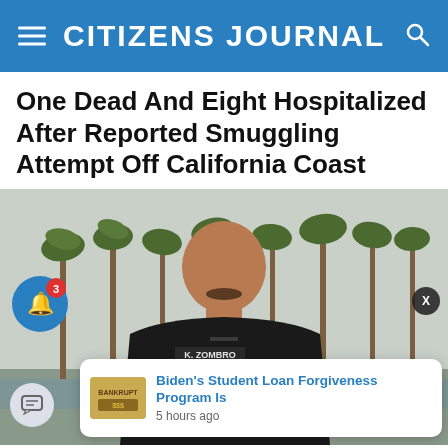CITIZENS JOURNAL
One Dead And Eight Hospitalized After Reported Smuggling Attempt Off California Coast
[Figure (photo): Official in dark uniform with name badge 'K. ZOMBRO' speaking outdoors with palm trees in background. A notification bell icon with badge '3' is overlaid on the left, a close button 'X' on the right, a toast notification for 'Biden's Student Loan Forgiveness Program Is' posted 5 hours ago appears at the bottom right, and a chat bubble icon at the bottom left.]